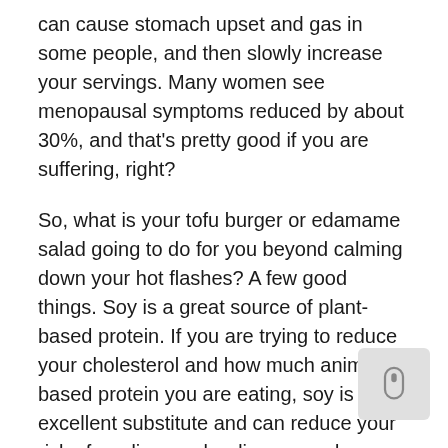can cause stomach upset and gas in some people, and then slowly increase your servings. Many women see menopausal symptoms reduced by about 30%, and that's pretty good if you are suffering, right?
So, what is your tofu burger or edamame salad going to do for you beyond calming down your hot flashes? A few good things. Soy is a great source of plant-based protein. If you are trying to reduce your cholesterol and how much animal-based protein you are eating, soy is an excellent substitute and can reduce your risk of cardiovascular disease and atherosclerosis.
To sum up, remember, soy contains a plant-based or phytoestrogen that is safe to have at all times of life, including menopause. Many studies show that soy helps to protect our bone health and reduce the risk of fractur… Unfortunately, soy is not a cure-all. It doesn't help wit… vaginal dryness, pain with sex, or reducing any of the